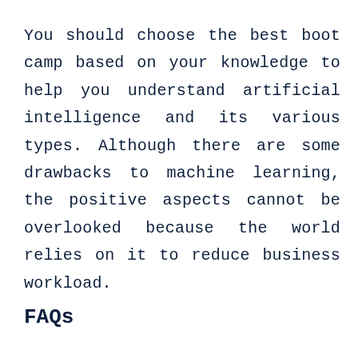You should choose the best boot camp based on your knowledge to help you understand artificial intelligence and its various types. Although there are some drawbacks to machine learning, the positive aspects cannot be overlooked because the world relies on it to reduce business workload.
FAQs